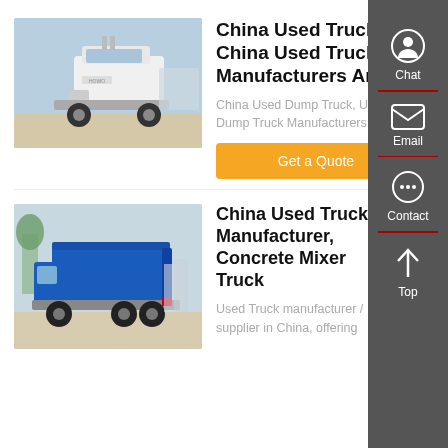[Figure (photo): White semi-truck (tractor unit) parked outdoors, front-left angle view]
China Used Truck, China Used Truck Manufacturers And
China Used Dump Truck, Used Dump Truck Manufacturers …
Get a Quote
[Figure (photo): Blue dump truck (tipper truck) parked outdoors, rear-left angle view]
China Used Truck Manufacturer, Concrete Mixer Truck
Used Truck manufacturer / supplier in China, offering